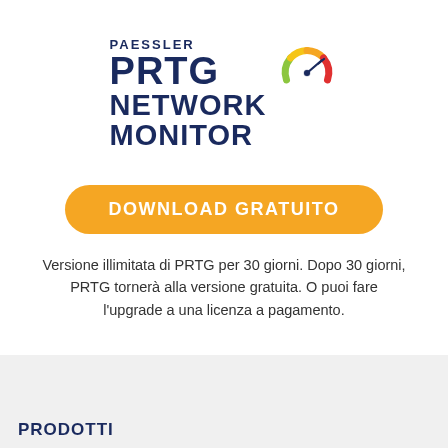[Figure (logo): Paessler PRTG Network Monitor logo with gauge icon in red, orange, and yellow]
DOWNLOAD GRATUITO
Versione illimitata di PRTG per 30 giorni. Dopo 30 giorni, PRTG tornerà alla versione gratuita. O puoi fare l'upgrade a una licenza a pagamento.
PRODOTTI